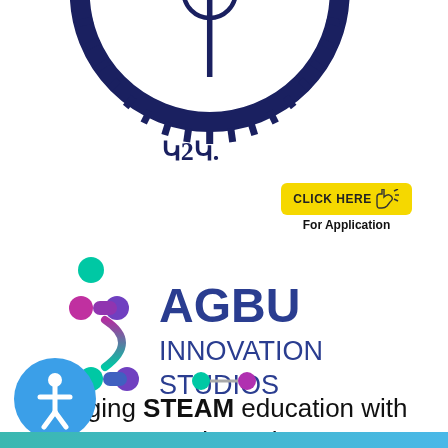[Figure (logo): Partial circular seal/emblem in dark navy blue, showing bottom half of a circular logo with gear-like outer ring and Armenian text characters]
[Figure (other): Yellow button labeled CLICK HERE with cursor/hand icon pointing at it, and text below saying For Application]
[Figure (logo): AGBU Innovation Studios logo featuring pink/purple and teal molecular/connected dots symbol on left, and text AGBU INNOVATION STUDIOS in blue on right]
[Figure (infographic): Small decorative connector icon with teal and purple circles connected by lines]
Bridging STEAM education with Armenian culture
[Figure (infographic): Small decorative connector icon with teal and purple circles connected by lines (bottom)]
[Figure (other): Blue circular accessibility icon with person/figure symbol]